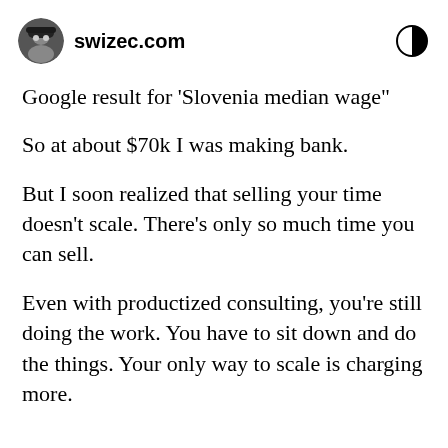swizec.com
Google result for 'Slovenia median wage"
So at about $70k I was making bank.
But I soon realized that selling your time doesn't scale. There's only so much time you can sell.
Even with productized consulting, you're still doing the work. You have to sit down and do the things. Your only way to scale is charging more.